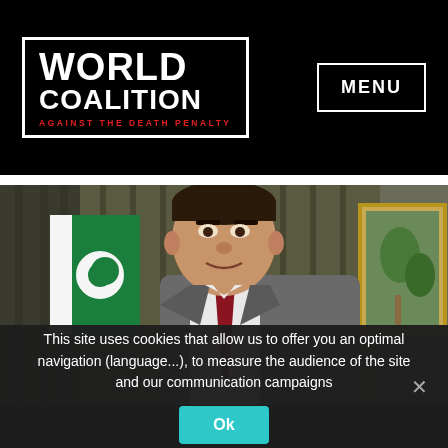[Figure (logo): World Coalition Against the Death Penalty logo — bold white text on black with red tagline, inside a white border box]
MENU
[Figure (photo): Man in a grey suit with a dark red tie, standing in front of a green and white flag (Pakistan) and an ornate gold-framed painting. He appears to be a political figure.]
This site uses cookies that allow us to offer you an optimal navigation (language...), to measure the audience of the site and our communication campaigns
Ok